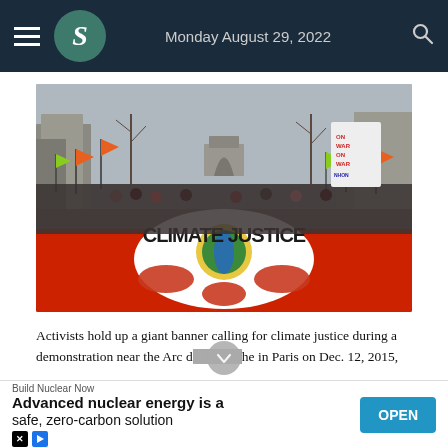Monday August 29, 2022
[Figure (photo): Protesters at a climate justice march near the Arc de Triomphe in Paris. A large red and white banner reading 'CLIMATE JUSTICE' with a globe graphic is held by demonstrators carrying orange and green flags. The Arc de Triomphe is visible in the background.]
Activists hold up a giant banner calling for climate justice during a demonstration near the Arc de Triomphe in Paris on Dec. 12, 2015,
[Figure (other): Advertisement banner: Build Nuclear Now — Advanced nuclear energy is a safe, zero-carbon solution. OPEN button.]